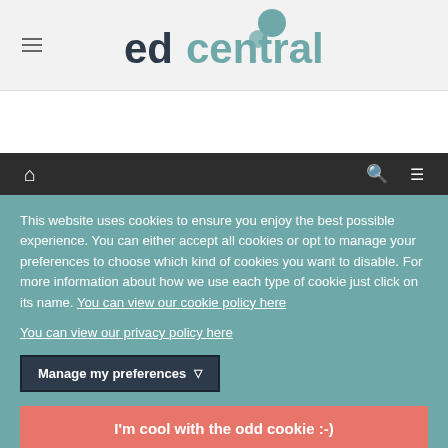edcentral
This website uses cookies to ensure you enjoy the best possible experience. You can either accept all cookies or opt to manage your preferences to choose which kind of cookies you want to disable. For more information about how we use each type of cookie just click on its name. You can view our cookie policy here
You can view our privacy policy here
Manage my preferences
I'm cool with the odd cookie :-)